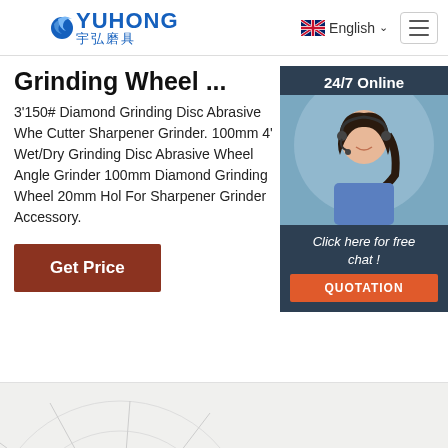YUHONG 宇弘磨具 | English | Navigation
Grinding Wheel ...
3'150# Diamond Grinding Disc Abrasive Wheel Cutter Sharpener Grinder. 100mm 4' Wet/Dry Grinding Disc Abrasive Wheel Angle Grinder 100mm Diamond Grinding Wheel 20mm Hole For Sharpener Grinder Accessory.
[Figure (photo): Customer service representative woman with headset smiling, with '24/7 Online' header and 'Click here for free chat!' and QUOTATION button overlay]
Get Price
[Figure (photo): Grinding wheel diagram showing Type 27 Max Flex label at the bottom of the page]